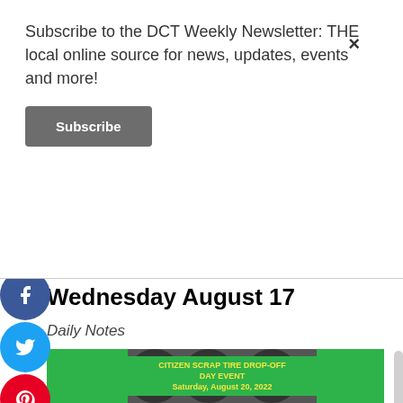Subscribe to the DCT Weekly Newsletter: THE local online source for news, updates, events and more!
Subscribe
Free Food Program Coming to An End
latest News
Wednesday August 17
Daily Notes
[Figure (infographic): Citizen Scrap Tire Drop-Off Day Event flyer on green background with photo of scrap tires. Text: CITIZEN SCRAP TIRE DROP-OFF DAY EVENT Saturday, August 20, 2022. GARRETT COUNTY RESIDENTS GET RID OF YOUR OLD SCRAP TIRES NOW FREE OF CHARGE]